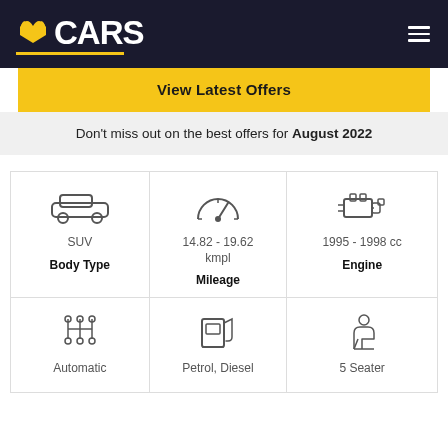BCARS
View Latest Offers
Don't miss out on the best offers for August 2022
| Body Type | Mileage | Engine |
| --- | --- | --- |
| SUV | 14.82 - 19.62 kmpl | 1995 - 1998 cc |
| Automatic | Petrol, Diesel | 5 Seater |